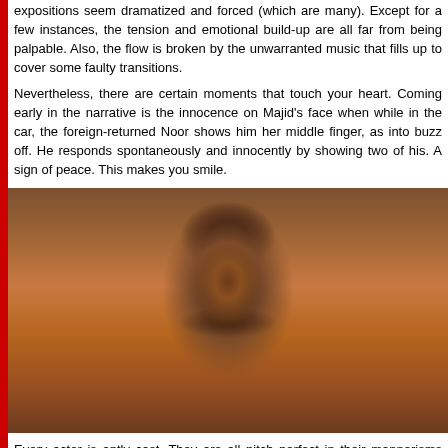expositions seem dramatized and forced (which are many). Except for a few instances, the tension and emotional build-up are all far from being palpable. Also, the flow is broken by the unwarranted music that fills up to cover some faulty transitions.
Nevertheless, there are certain moments that touch your heart. Coming early in the narrative is the innocence on Majid's face when while in the car, the foreign-returned Noor shows him her middle finger, as into buzz off. He responds spontaneously and innocently by showing two of his. A sign of peace. This makes you smile.
[Figure (photo): Portrait photograph of a man with dark hair and beard, wearing a brownish-grey shawl/wrap over a white shirt with embroidered detail at the collar, standing in front of a red brick wall.]
Every actor is aptly cast. They are all pitch perfect in their mannerisms and language -- Zara Webb as Noor, Shivam Raina as Majid, Ashvin Kumar as Arshid, Kulbhushan Kharbanda and Soni Razdan as Noor's grandparents Abdul Rash Halima, Maya Sarao as Noor's mother Parvena, Anshuman Jha as the Army Maj Natasha Mago as Majid's mother Zainab. Their performances are what ke